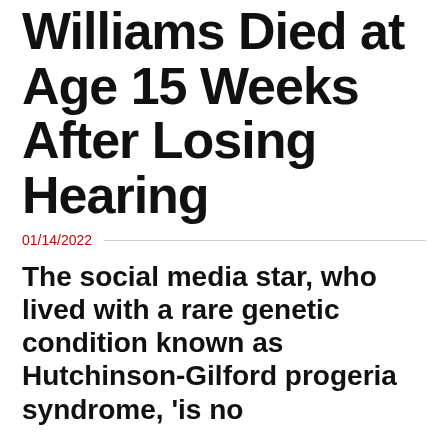Williams Died at Age 15 Weeks After Losing Hearing
01/14/2022
The social media star, who lived with a rare genetic condition known as Hutchinson-Gilford progeria syndrome, 'is no